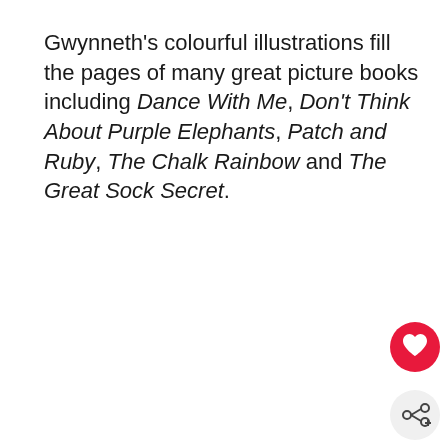Gwynneth's colourful illustrations fill the pages of many great picture books including Dance With Me, Don't Think About Purple Elephants, Patch and Ruby, The Chalk Rainbow and The Great Sock Secret.
Dance With Me
[Figure (other): Red circular heart/favourite button with white heart icon, and a light grey circular share button with share icon, positioned in bottom-right corner]